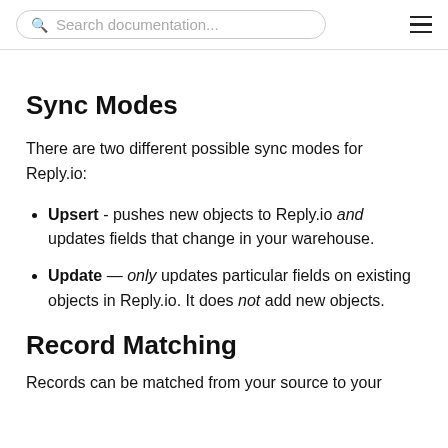Search documentation...
Sync Modes
There are two different possible sync modes for Reply.io:
Upsert - pushes new objects to Reply.io and updates fields that change in your warehouse.
Update — only updates particular fields on existing objects in Reply.io. It does not add new objects.
Record Matching
Records can be matched from your source to your